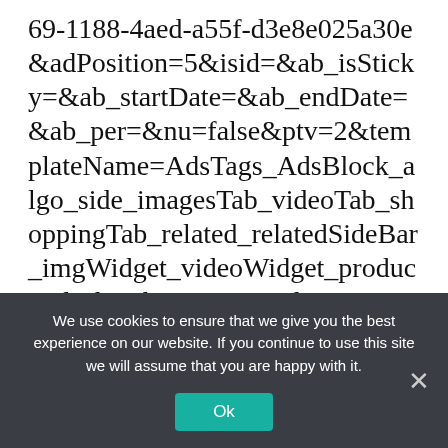69-1188-4aed-a55f-d3e8e025a30e&adPosition=5&isid=&ab_isSticky=&ab_startDate=&ab_endDate=&ab_per=&nu=false&ptv=2&templateName=AdsTags_AdsBlock_algo_side_imagesTab_videoTab_shoppingTab_related_relatedSideBar_imgWidget_videoWidget_productAds_hamburger&templateCounts=3_0_10_6_1_1_0_8_8_1_1_0_1&geo=us&url=http%3A%2F%2Fwww.onlyonesearch.com%2FSearch%2F%3Fq%3Detims%2Bair%2Bforce%2Btec
We use cookies to ensure that we give you the best experience on our website. If you continue to use this site we will assume that you are happy with it.